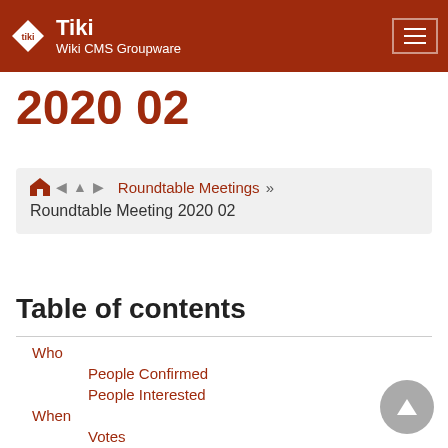Tiki Wiki CMS Groupware
2020 02
Roundtable Meetings » Roundtable Meeting 2020 02
Table of contents
Who
People Confirmed
People Interested
When
Votes
Where
What
Topics
First hour: quick news